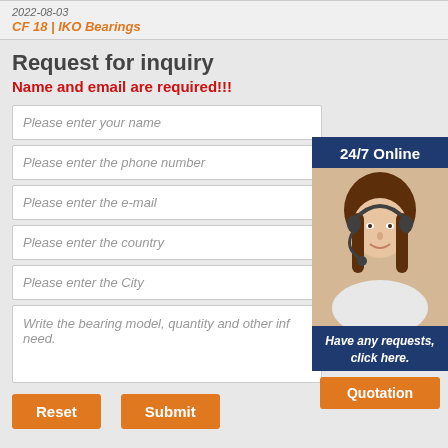2022-08-03
CF 18 | IKO Bearings
Request for inquiry
Name and email are required!!!
Please enter your name
Please enter the phone number
24/7 Online
Please enter the e-mail
Please enter the country
Please enter the City
Write the bearing model, quantity and other information you need.
Have any requests, click here.
Quotation
Reset
Submit